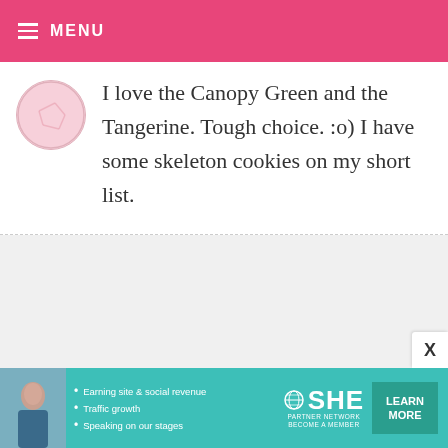MENU
I love the Canopy Green and the Tangerine. Tough choice. :o) I have some skeleton cookies on my short list.
CASEY PECK — OCTOBER 7, 2013 @ 12:14 AM
REPLY
I love the Canopy Green! I can't wait to make mini pumpkin muffins with cream cheese icing!
[Figure (infographic): SHE Partner Network advertisement banner with woman photo, bullet points about earning site & social revenue, traffic growth, speaking on our stages, with LEARN MORE button]